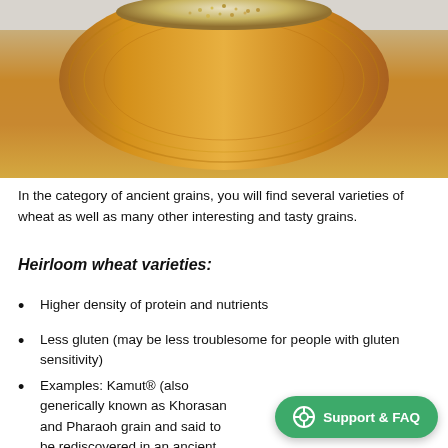[Figure (photo): A wooden bowl filled with grains (quinoa or similar ancient grain) viewed from above, on a light background.]
In the category of ancient grains, you will find several varieties of wheat as well as many other interesting and tasty grains.
Heirloom wheat varieties:
Higher density of protein and nutrients
Less gluten (may be less troublesome for people with gluten sensitivity)
Examples: Kamut® (also generically known as Khorasan and Pharaoh grain and said to be rediscovered in an ancient Egyptian tomb), emmer, e…